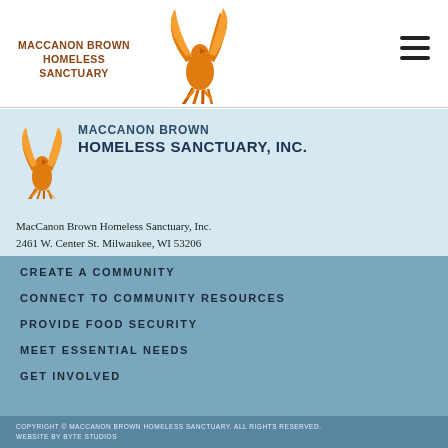MACCANON BROWN HOMELESS SANCTUARY
[Figure (logo): Orange phoenix bird logo in nav bar]
[Figure (logo): Orange phoenix bird logo in header section]
MACCANON BROWN HOMELESS SANCTUARY, INC.
MacCanon Brown Homeless Sanctuary, Inc.
2461 W. Center St. Milwaukee, WI 53206
414-404-0600
CREATE A COMMUNITY
CONNECT TO COMMUNITY RESOURCES
PROVIDE FOOD SECURITY
MEET ESSENTIAL NEEDS
GET INVOLVED
COPYRIGHT © MACCANON BROWN HOMELESS SANCTUARY. ALL RIGHTS RESERVED. WEBSITE BY BYTE STUDIOS